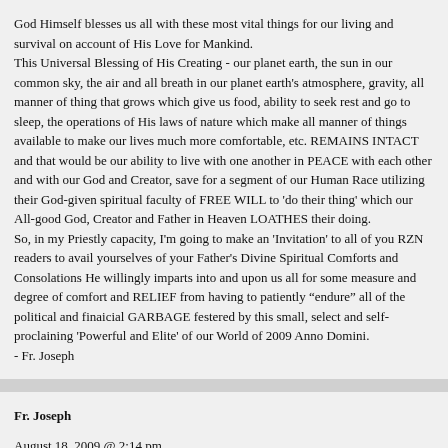God Himself blesses us all with these most vital things for our living and survival on account of His Love for Mankind.
This Universal Blessing of His Creating - our planet earth, the sun in our common sky, the air and all breath in our planet earth's atmosphere, gravity, all manner of thing that grows which give us food, ability to seek rest and go to sleep, the operations of His laws of nature which make all manner of things available to make our lives much more comfortable, etc. REMAINS INTACT and that would be our ability to live with one another in PEACE with each other and with our God and Creator, save for a segment of our Human Race utilizing their God-given spiritual faculty of FREE WILL to 'do their thing' which our All-good God, Creator and Father in Heaven LOATHES their doing.
So, in my Priestly capacity, I'm going to make an 'Invitation' to all of you RZN readers to avail yourselves of your Father's Divine Spiritual Comforts and Consolations He willingly imparts into and upon us all for some measure and degree of comfort and RELIEF from having to patiently "endure" all of the political and finaicial GARBAGE festered by this small, select and self-proclaining 'Powerful and Elite' of our World of 2009 Anno Domini.
- Fr. Joseph
Fr. Joseph
August 18, 2009 @ 2:14 pm
So here’s the ‘Invitation’.
All of you are invited to simply attend the next Mass or Divine Liturgy in any of your lo...